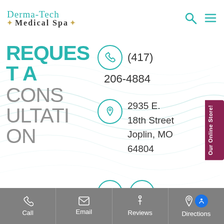Derma-Tech Medical Spa
REQUEST A CONSULTATION
(417) 206-4884
2935 E. 18th Street Joplin, MO 64804
Call | Email | Reviews | Directions